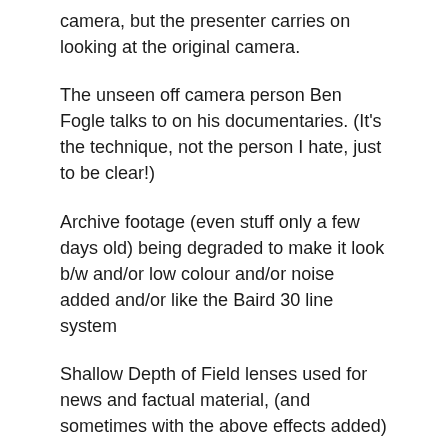camera, but the presenter carries on looking at the original camera.
The unseen off camera person Ben Fogle talks to on his documentaries. (It's the technique, not the person I hate, just to be clear!)
Archive footage (even stuff only a few days old) being degraded to make it look b/w and/or low colour and/or noise added and/or like the Baird 30 line system
Shallow Depth of Field lenses used for news and factual material, (and sometimes with the above effects added)
Journalists interviewing each other, almost relegating the viewer to some sort of eavesdropper.
Streaming services that start up the next episode before you've even had a chance to find the remote and cancel the